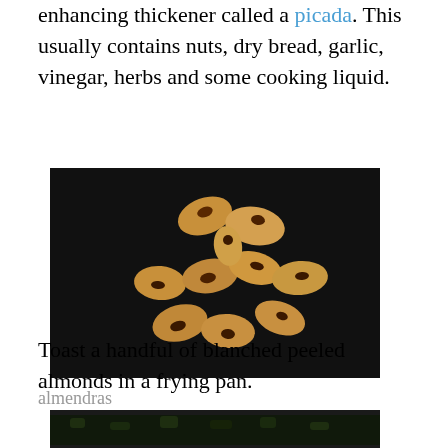enhancing thickener called a picada. This usually contains nuts, dry bread, garlic, vinegar, herbs and some cooking liquid.
[Figure (photo): Close-up photo of toasted blanched almonds on a dark background, showing approximately 11 almonds with darkened tips]
almendras
Toast a handful of blanched peeled almonds in a frying pan.
[Figure (photo): Partial photo of what appears to be a dark frying pan with almonds, cropped at the bottom of the page]